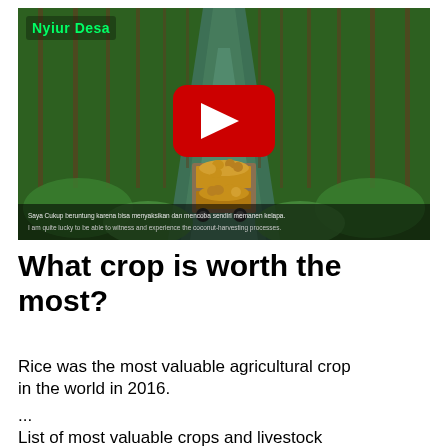[Figure (screenshot): A YouTube video thumbnail showing a plantation/farm scene with tall trees in rows, a waterway in the center, a vehicle carrying harvested fruits (coconuts/palm fruits), and lush green ground cover. A red YouTube play button is overlaid in the center. Text at the bottom of the thumbnail reads: 'Saya Cukup beruntung karena bisa menyaksikan dan mencoba sendiri memanen kelapa. I am quite lucky to be able to witness and experience the coconut-harvesting processes.' A green-text label 'Nyiur Desa' appears in the top-left corner.]
What crop is worth the most?
Rice was the most valuable agricultural crop in the world in 2016.
...
List of most valuable crops and livestock products.